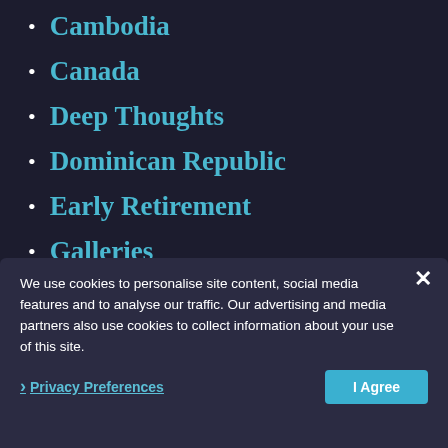Cambodia
Canada
Deep Thoughts
Dominican Republic
Early Retirement
Galleries
General Travel Advice
Introduction
Laos
M...
Pe...
Philippines
Pre Departure
Reviews
Slovakia
South Korea
Thailand
We use cookies to personalise site content, social media features and to analyse our traffic. Our advertising and media partners also use cookies to collect information about your use of this site.
Privacy Preferences
I Agree